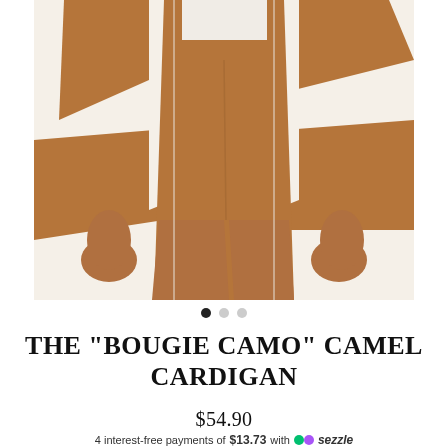[Figure (photo): A person wearing a white and camel/brown color-block cardigan over brown biker shorts and a white bodysuit. The photo is cropped showing from the shoulders to below the hips.]
THE "BOUGIE CAMO" CAMEL CARDIGAN
$54.90
4 interest-free payments of $13.73 with sezzle